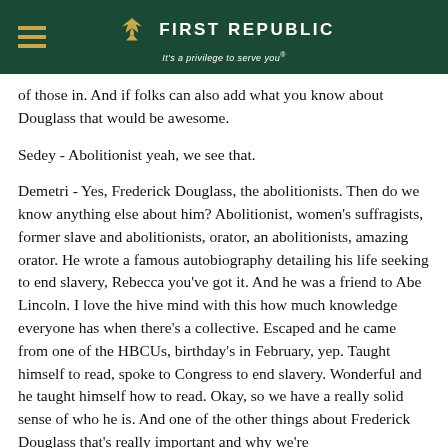First Republic — It's a privilege to serve you®
of those in. And if folks can also add what you know about Douglass that would be awesome.
Sedey - Abolitionist yeah, we see that.
Demetri - Yes, Frederick Douglass, the abolitionists. Then do we know anything else about him? Abolitionist, women's suffragists, former slave and abolitionists, orator, an abolitionists, amazing orator. He wrote a famous autobiography detailing his life seeking to end slavery, Rebecca you've got it. And he was a friend to Abe Lincoln. I love the hive mind with this how much knowledge everyone has when there's a collective. Escaped and he came from one of the HBCUs, birthday's in February, yep. Taught himself to read, spoke to Congress to end slavery. Wonderful and he taught himself how to read. Okay, so we have a really solid sense of who he is. And one of the other things about Frederick Douglass that's really important and why we're studying the conversation to share with some piece of him is that